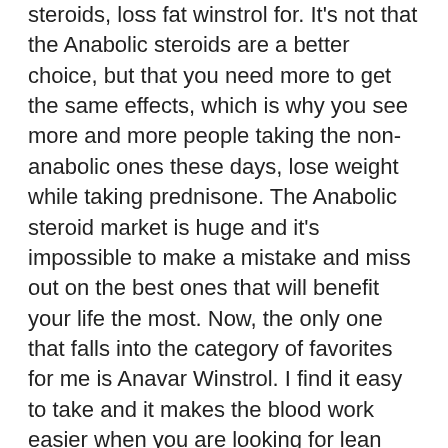steroids, loss fat winstrol for. It's not that the Anabolic steroids are a better choice, but that you need more to get the same effects, which is why you see more and more people taking the non-anabolic ones these days, lose weight while taking prednisone. The Anabolic steroid market is huge and it's impossible to make a mistake and miss out on the best ones that will benefit your life the most. Now, the only one that falls into the category of favorites for me is Anavar Winstrol. I find it easy to take and it makes the blood work easier when you are looking for lean mass in order to make changes and stay lean, how can i lose weight while on prednisone. I also find that even though it doesn't give you the fat loss benefits of the Anabolic steroid, it is still incredibly effective in the long run, cutting on steroids. That is why if you were going to take a non-anabolic steroid at your